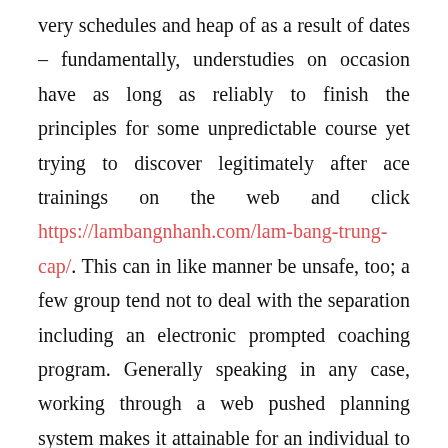very schedules and heap of as a result of dates – fundamentally, understudies on occasion have as long as reliably to finish the principles for some unpredictable course yet trying to discover legitimately after ace trainings on the web and click https://lambangnhanh.com/lam-bang-trung-cap/. This can in like manner be unsafe, too; a few group tend not to deal with the separation including an electronic prompted coaching program. Generally speaking in any case, working through a web pushed planning system makes it attainable for an individual to consider in the settlement home while pondering work and. In conditions where as a system you end up being among these end MBA online limits, you will see that you would quit being incited alongside the various costs that are associated with standard college duty – by and large considering the way that you would not utilize a tremendous section of the